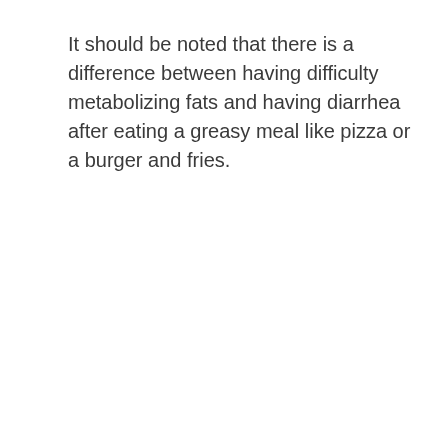It should be noted that there is a difference between having difficulty metabolizing fats and having diarrhea after eating a greasy meal like pizza or a burger and fries.